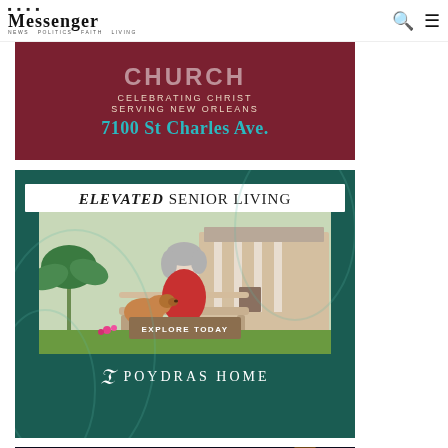Messenger — news, politics, faith, living
[Figure (infographic): Church advertisement: dark red background, text reading 'CELEBRATING CHRIST / SERVING NEW ORLEANS / 7100 St Charles Ave.' with teal address text]
[Figure (infographic): Poydras Home senior living advertisement: dark teal/green background, 'ELEVATED SENIOR LIVING' header, photo of elderly woman with dog on bench outdoors, 'EXPLORE TODAY' button, Poydras Home logo at bottom]
[Figure (infographic): The Wisdom Center advertisement: dark background with bokeh lights, italic script text 'The Wisdom Center']